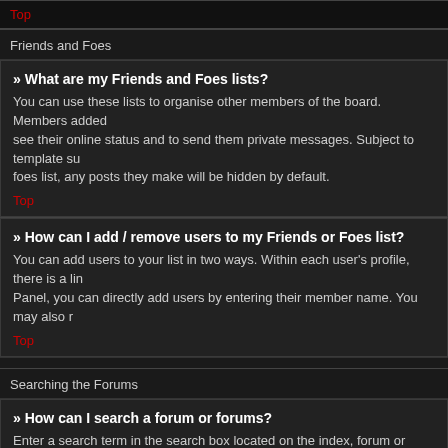Top
Friends and Foes
» What are my Friends and Foes lists?
You can use these lists to organise other members of the board. Members added to your friends list will be listed within your User Control Panel for quick access to see their online status and to send them private messages. Subject to template support, posts from these users may also be highlighted. If you add a user to your foes list, any posts they make will be hidden by default.
Top
» How can I add / remove users to my Friends or Foes list?
You can add users to your list in two ways. Within each user's profile, there is a link to add them to either your Friend or Foe list. Alternatively, from your User Control Panel, you can directly add users by entering their member name. You may also remove users from your list using the same page.
Top
Searching the Forums
» How can I search a forum or forums?
Enter a search term in the search box located on the index, forum or topic pages. Advanced search can be accessed by clicking the "Advance Search" link which is available on all pages on the forum. How to access the search may depend on the style used.
Top
» Why does my search return no results?
Your search was probably too vague and included many common terms which are not indexed by phpBB. Be more specific and use the options available within Advanced search.